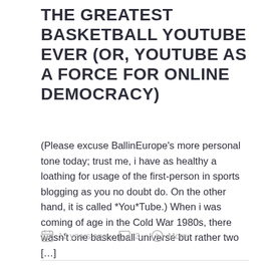THE GREATEST BASKETBALL YOUTUBE EVER (OR, YOUTUBE AS A FORCE FOR ONLINE DEMOCRACY)
(Please excuse BallinEurope’s more personal tone today; trust me, i have as healthy a loathing for usage of the first-person in sports blogging as you no doubt do. On the other hand, it is called *You*Tube.) When i was coming of age in the Cold War 1980s, there wasn’t one basketball universe but rather two […]
12 years ago   3   More